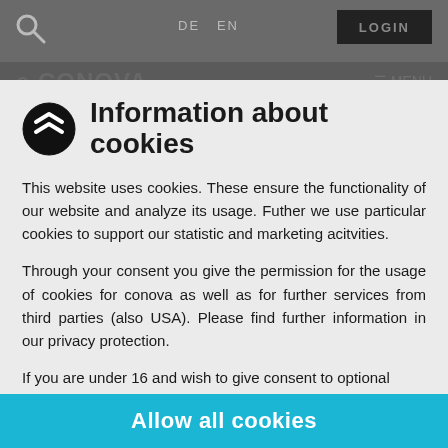[Figure (screenshot): Website background showing dark gray navigation bar with search icon, DE/EN language links, LOGIN button, conova logo, and MENU link. Behind the cookie modal overlay.]
Information about cookies
This website uses cookies. These ensure the functionality of our website and analyze its usage. Futher we use particular cookies to support our statistic and marketing acitvities.
Through your consent you give the permission for the usage of cookies for conova as well as for further services from third parties (also USA). Please find further information in our privacy protection.
If you are under 16 and wish to give consent to optional
Necessary
Marketing
Statistics
Fast: real-time notification of attacks
Allow all cookies